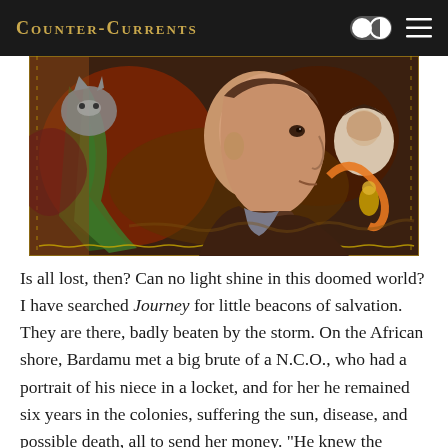Counter-Currents
[Figure (illustration): A detailed painted portrait of a gaunt man in profile facing right, wearing a dark jacket with a scarf, surrounded by swirling colorful abstract imagery including animals, figures, and patterns with an ornate dotted border.]
Is all lost, then? Can no light shine in this doomed world? I have searched Journey for little beacons of salvation. They are there, badly beaten by the storm. On the African shore, Bardamu met a big brute of a N.C.O., who had a portrait of his niece in a locket, and for her he remained six years in the colonies, suffering the sun, disease, and possible death, all to send her money. "He knew the angels by name, that